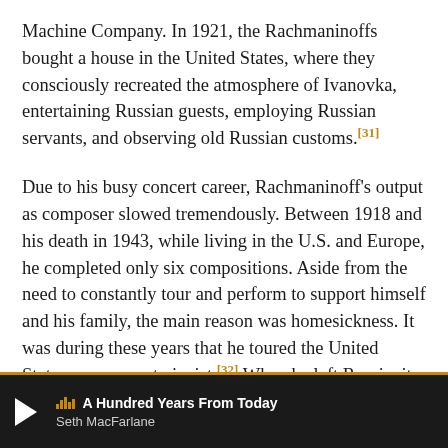Machine Company. In 1921, the Rachmaninoffs bought a house in the United States, where they consciously recreated the atmosphere of Ivanovka, entertaining Russian guests, employing Russian servants, and observing old Russian customs.[31]
Due to his busy concert career, Rachmaninoff's output as composer slowed tremendously. Between 1918 and his death in 1943, while living in the U.S. and Europe, he completed only six compositions. Aside from the need to constantly tour and perform to support himself and his family, the main reason was homesickness. It was during these years that he toured the United States as a concert pianist.[32] When he left Russia, it was as if he had left behind his inspiration. His revival as a composer became possible only after he had built himself a new home, Villa Senar on Lake Lucerne, Switzerland, where he spent summers from 1932 to 1939. There, in the comfort of
[Figure (other): Media player bar at bottom of screen showing a play button (triangle), waveform icon, song title 'A Hundred Years From Today' and artist 'Seth MacFarlane' on a dark background with orange top border.]